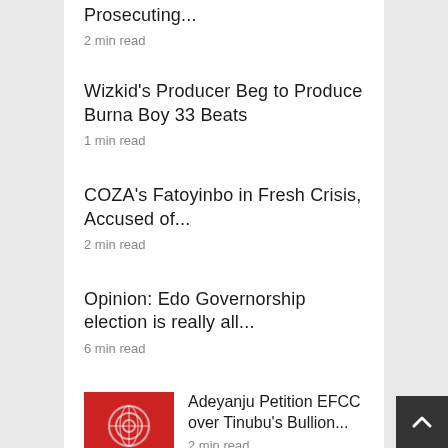Prosecuting...
2 min read
Wizkid's Producer Beg to Produce Burna Boy 33 Beats
1 min read
COZA's Fatoyinbo in Fresh Crisis, Accused of...
2 min read
Opinion: Edo Governorship election is really all...
6 min read
Adeyanju Petition EFCC over Tinubu's Bullion...
2 min read